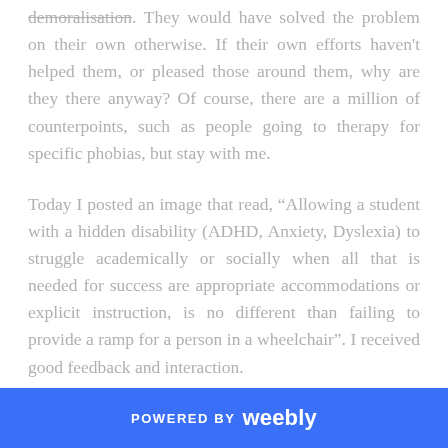demoralisation. They would have solved the problem on their own otherwise. If their own efforts haven't helped them, or pleased those around them, why are they there anyway? Of course, there are a million of counterpoints, such as people going to therapy for specific phobias, but stay with me.
Today I posted an image that read, “Allowing a student with a hidden disability (ADHD, Anxiety, Dyslexia) to struggle academically or socially when all that is needed for success are appropriate accommodations or explicit instruction, is no different than failing to provide a ramp for a person in a wheelchair”. I received good feedback and interaction.
POWERED BY weebly